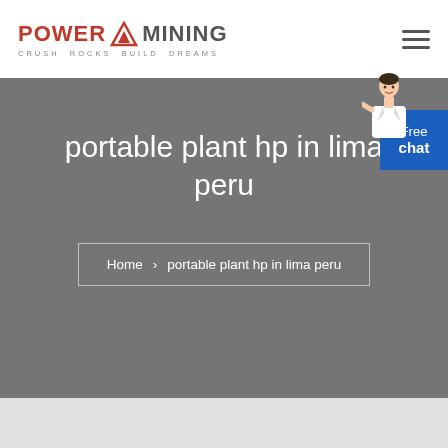POWER MINING — Crush Rocks Build Dreams
portable plant hp in lima peru
Home > portable plant hp in lima peru
[Figure (illustration): Free chat widget with avatar of a customer service representative in white blazer]